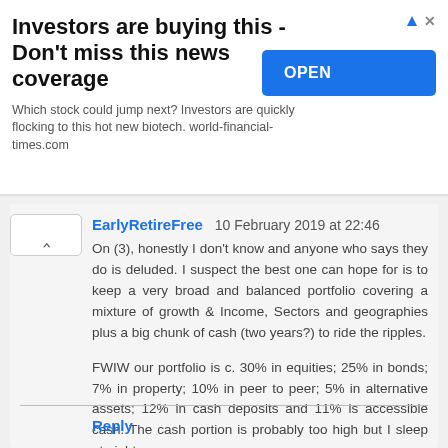[Figure (other): Advertisement banner: 'Investors are buying this - Don't miss this news coverage' with OPEN button. Text: 'Which stock could jump next? Investors are quickly flocking to this hot new biotech. world-financial-times.com']
EarlyRetireFree  10 February 2019 at 22:46

On (3), honestly I don't know and anyone who says they do is deluded. I suspect the best one can hope for is to keep a very broad and balanced portfolio covering a mixture of growth & Income, Sectors and geographies plus a big chunk of cash (two years?) to ride the ripples.

FWIW our portfolio is c. 30% in equities; 25% in bonds; 7% in property; 10% in peer to peer; 5% in alternative assets; 12% in cash deposits and 11% is accessible cash. The cash portion is probably too high but I sleep at nights.
Reply